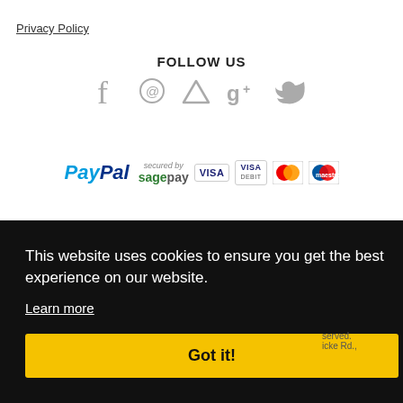Privacy Policy
FOLLOW US
[Figure (illustration): Social media icons: Facebook, Pinterest, AppStore/triangle, Google+, Twitter]
[Figure (illustration): Payment logos: PayPal, Sage Pay, VISA, VISA Debit, MasterCard, Maestro]
[Figure (logo): REVIEWS.io Trusted Site badge]
This website uses cookies to ensure you get the best experience on our website.
Learn more
Got it!
served. icke Rd.,